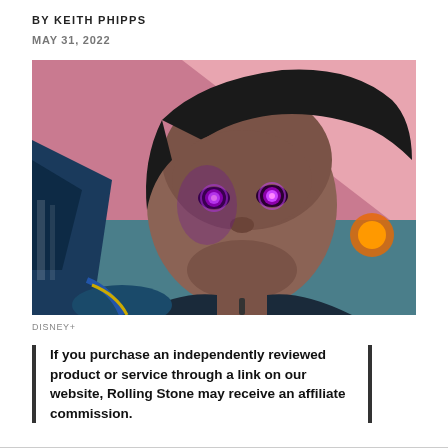BY KEITH PHIPPS
MAY 31, 2022
[Figure (photo): Close-up of a young woman with glowing purple/pink eyes wearing a dark metallic superhero suit, with a stylized pink and orange background. Still from a Marvel Disney+ series.]
DISNEY+
If you purchase an independently reviewed product or service through a link on our website, Rolling Stone may receive an affiliate commission.